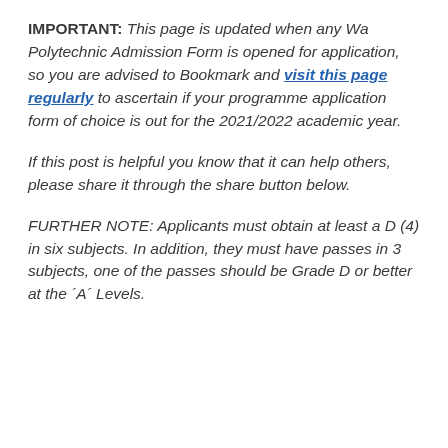IMPORTANT: This page is updated when any Wa Polytechnic Admission Form is opened for application, so you are advised to Bookmark and visit this page regularly to ascertain if your programme application form of choice is out for the 2021/2022 academic year.
If this post is helpful you know that it can help others, please share it through the share button below.
FURTHER NOTE: Applicants must obtain at least a D (4) in six subjects. In addition, they must have passes in 3 subjects, one of the passes should be Grade D or better at the ´A´ Levels.